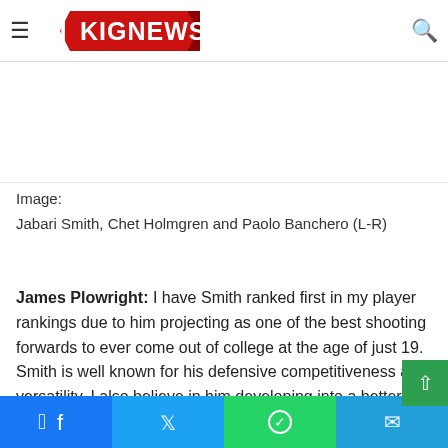KIGNEWS
Image:
Jabari Smith, Chet Holmgren and Paolo Banchero (L-R)
James Plowright: I have Smith ranked first in my player rankings due to him projecting as one of the best shooting forwards to ever come out of college at the age of just 19. Smith is well known for his defensive competitiveness and versatility, I also believe in him developing into a better